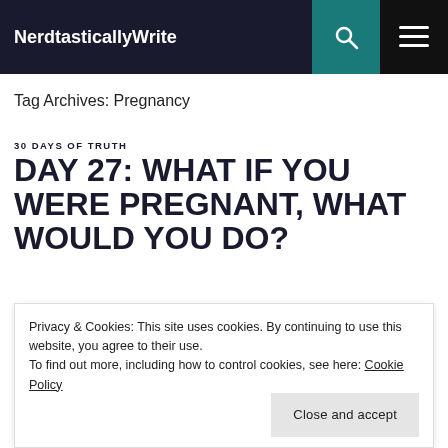NerdtasticallyWrite
Tag Archives: Pregnancy
30 DAYS OF TRUTH
DAY 27: WHAT IF YOU WERE PREGNANT, WHAT WOULD YOU DO?
Privacy & Cookies: This site uses cookies. By continuing to use this website, you agree to their use. To find out more, including how to control cookies, see here: Cookie Policy
Close and accept